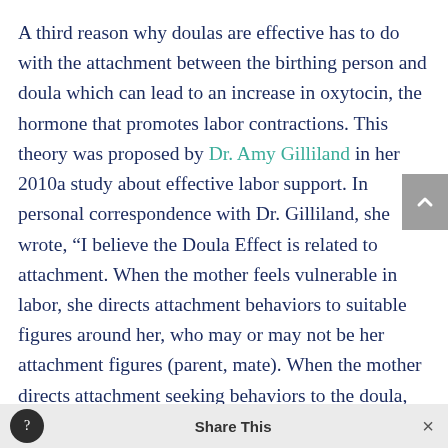A third reason why doulas are effective has to do with the attachment between the birthing person and doula which can lead to an increase in oxytocin, the hormone that promotes labor contractions. This theory was proposed by Dr. Amy Gilliland in her 2010a study about effective labor support. In personal correspondence with Dr. Gilliland, she wrote, “I believe the Doula Effect is related to attachment. When the mother feels vulnerable in labor, she directs attachment behaviors to suitable figures around her, who may or may not be her attachment figures (parent, mate). When the mother directs attachment seeking behaviors to the doula, the experienced doula (25 births or more) responds in a unique manner. She is able to provide a secure base,
Share This